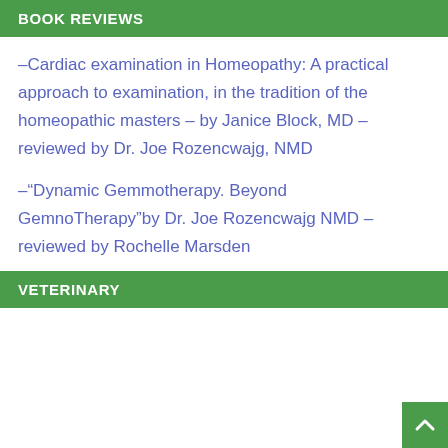BOOK REVIEWS
–Cardiac examination in Homeopathy: A practical approach to examination, in the tradition of the homeopathic masters – by Janice Block, MD – reviewed by Dr. Joe Rozencwajg, NMD
–"Dynamic Gemmotherapy. Beyond GemnoTherapy"by Dr. Joe Rozencwajg NMD – reviewed by Rochelle Marsden
VETERINARY